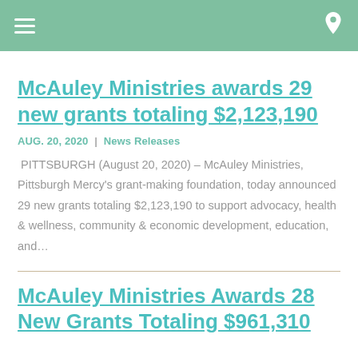Navigation header with hamburger menu and location icon
McAuley Ministries awards 29 new grants totaling $2,123,190
AUG. 20, 2020 | News Releases
PITTSBURGH (August 20, 2020) – McAuley Ministries, Pittsburgh Mercy's grant-making foundation, today announced 29 new grants totaling $2,123,190 to support advocacy, health & wellness, community & economic development, education, and…
McAuley Ministries Awards 28 New Grants Totaling $961,310